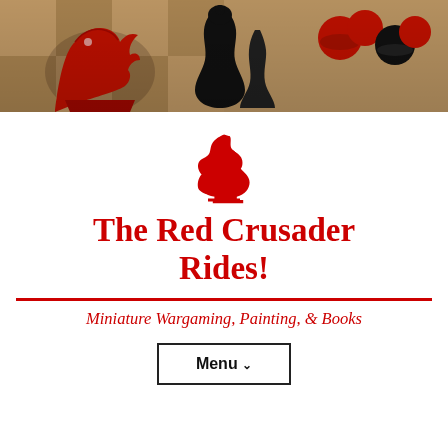[Figure (photo): Close-up photo of chess pieces on a chess board — a red knight in the foreground on the left, black chess pieces in the center, and red round pieces on the right, on a light wooden checkered board.]
[Figure (logo): Red chess knight silhouette icon (logo for The Red Crusader Rides)]
The Red Crusader Rides!
Miniature Wargaming, Painting, & Books
Menu